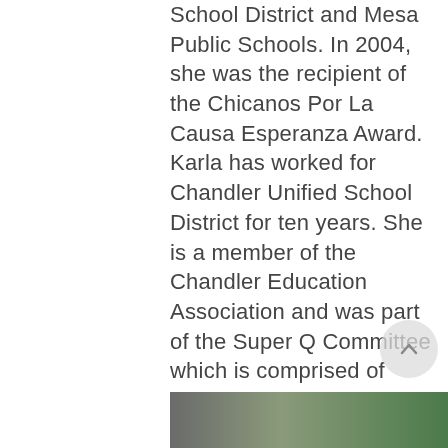School District and Mesa Public Schools. In 2004, she was the recipient of the Chicanos Por La Causa Esperanza Award. Karla has worked for Chandler Unified School District for ten years. She is a member of the Chandler Education Association and was part of the Super Q Committee which is comprised of administrators, certified and classified personnel as a part of the bargaining process for contracts and benefits. Karla earned a Bachelor's Degree from Arizona State University and a Masters Degree in Curriculum and Instruction from the University of Phoenix.
[Figure (photo): Bottom portion of a photo showing a person, partially visible at the bottom of the page, with green background]